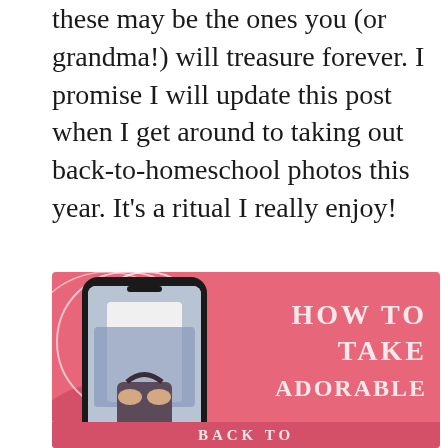these may be the ones you (or grandma!) will treasure forever. I promise I will update this post when I get around to taking out back-to-homeschool photos this year. It's a ritual I really enjoy!
[Figure (infographic): Pink background infographic with a smartphone mockup on the left showing a photo of a child with a backpack, decorative white circles, and pink text on the right reading 'HOW TO TAKE ADORABLE BACK TO' (partially visible). Bottom strip shows continuation of text.]